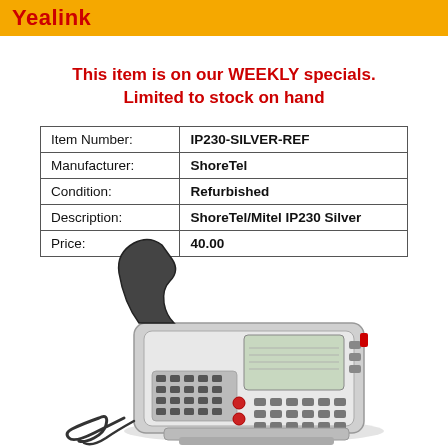Yealink
This item is on our WEEKLY specials. Limited to stock on hand
| Item Number: | IP230-SILVER-REF |
| Manufacturer: | ShoreTel |
| Condition: | Refurbished |
| Description: | ShoreTel/Mitel IP230 Silver |
| Price: | 40.00 |
[Figure (photo): ShoreTel/Mitel IP230 Silver refurbished desk phone with handset, keypad, and LCD display screen]